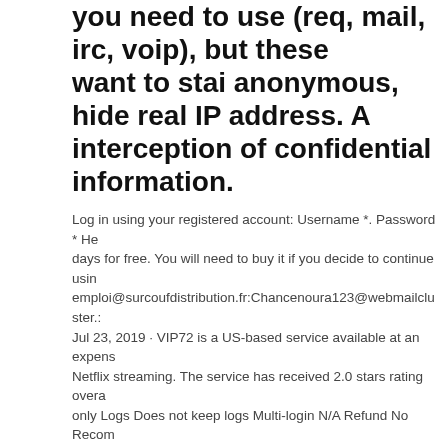you need to use (req, mail, irc, voip), but these want to stai anonymous, hide real IP address. Ar interception of confidential information.
Log in using your registered account: Username *. Password * He days for free. You will need to buy it if you decide to continue usin emploi@surcoufdistribution.fr:Chancenoura123@webmailcluster.: Jul 23, 2019 · VIP72 is a US-based service available at an expens Netflix streaming. The service has received 2.0 stars rating overa only Logs Does not keep logs Multi-login N/A Refund No Recom
meilleure configuration de kodi
navigateur torrent android
mise en mémoire tampon xbmc
reinstall device manager
how to setup chromecast on pc
best cheap dual band router
nfl game rewind free
openvpn 80 port